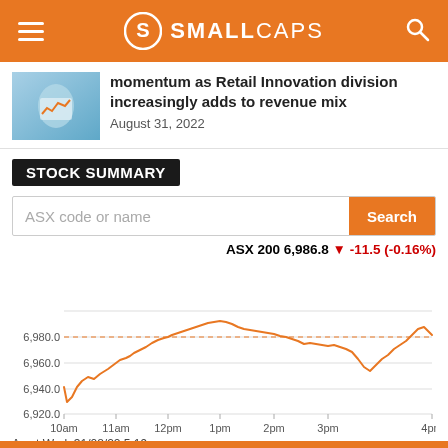SMALL CAPS
momentum as Retail Innovation division increasingly adds to revenue mix
August 31, 2022
STOCK SUMMARY
ASX code or name  Search
[Figure (line-chart): ASX 200 intraday line chart from 10am to 4pm on Wed 31/08/22, showing index rising from ~6,940 at open to ~6,998 peak around midday, then declining to ~6,960, with a late spike to ~6,985. Dashed reference line at 6,980.]
As at Wed, 31/08/22 5:19pm